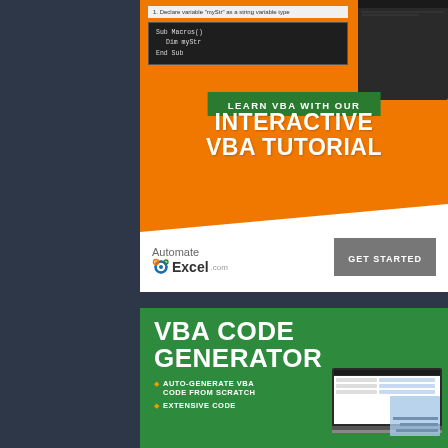[Figure (screenshot): AutomateExcel.com interactive VBA tutorial advertisement banner. Orange background with laptop showing VBA code, green badge saying 'LEARN VBA WITH OUR', large white text 'INTERACTIVE VBA TUTORIAL', AutomateExcel.com logo and GET STARTED button on white section.]
[Figure (infographic): VBA Code Generator advertisement on green background. Title 'VBA CODE GENERATOR' in bold white. Bullet points: AUTO-GENERATE VBA CODE FROM SCRATCH, EXTENSIVE CODE... with a screenshot of the tool on the right.]